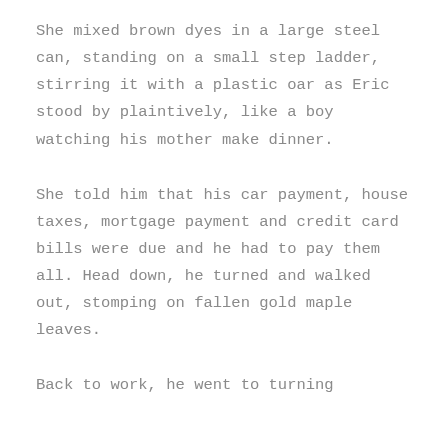She mixed brown dyes in a large steel can, standing on a small step ladder, stirring it with a plastic oar as Eric stood by plaintively, like a boy watching his mother make dinner.
She told him that his car payment, house taxes, mortgage payment and credit card bills were due and he had to pay them all. Head down, he turned and walked out, stomping on fallen gold maple leaves.
Back to work, he went to turning